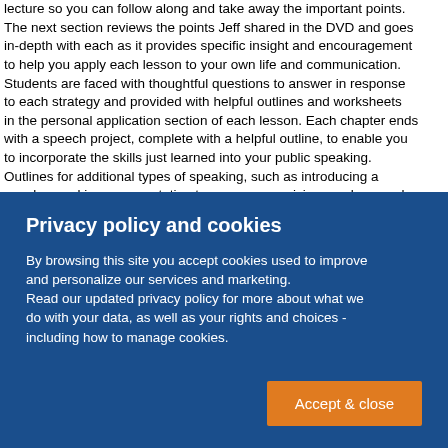lecture so you can follow along and take away the important points. The next section reviews the points Jeff shared in the DVD and goes in-depth with each as it provides specific insight and encouragement to help you apply each lesson to your own life and communication. Students are faced with thoughtful questions to answer in response to each strategy and provided with helpful outlines and worksheets in the personal application section of each lesson. Each chapter ends with a speech project, complete with a helpful outline, to enable you to incorporate the skills just learned into your public speaking. Outlines for additional types of speaking, such as introducing a speaker, making a presentation to one person, giving a eulogy, and
Privacy policy and cookies
By browsing this site you accept cookies used to improve and personalize our services and marketing. Read our updated privacy policy for more about what we do with your data, as well as your rights and choices - including how to manage cookies.
Accept & close